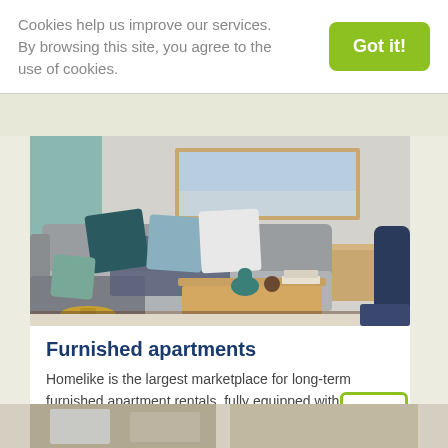Cookies help us improve our services. By browsing this site, you agree to the use of cookies.
Got it!
[Figure (photo): Interior photo of a furnished living room with a large gray sectional sofa, blue and white decorative pillows, a wooden coffee table with teal and brown decorative items, and a framed coastal painting on the wall.]
Furnished apartments
Homelike is the largest marketplace for long-term furnished apartment rentals, fully equipped with flexible payment.